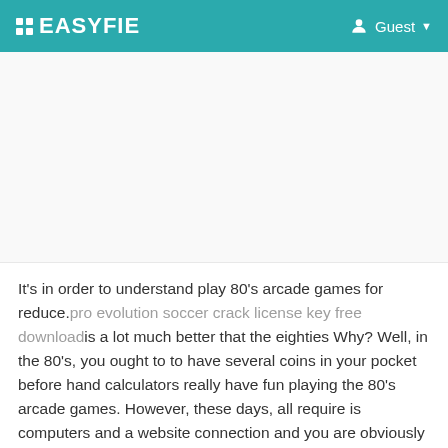EASYFIE  Guest
[Figure (other): Advertisement/blank area]
It's in order to understand play 80's arcade games for reduce. pro evolution soccer crack license key free download is a lot much better that the eighties Why? Well, in the 80's, you ought to to have several coins in your pocket before hand calculators really have fun playing the 80's arcade games. However, these days, all require is computers and a website connection and you are obviously on route to endless fun and excitement! Careful though because some